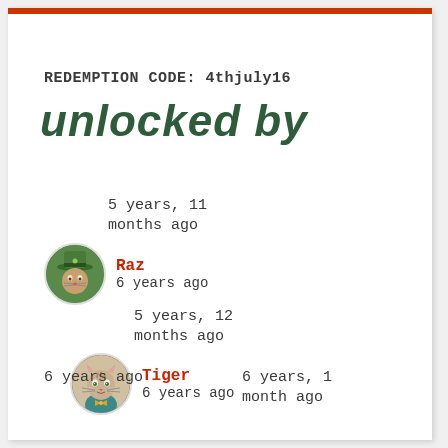REDEMPTION CODE: 4thjuly16
UNLOCKED BY
5 years, 11 months ago
[Figure (illustration): Circular avatar of a cat dressed in green leprechaun costume, labeled Raz]
Raz
6 years ago
5 years, 12 months ago
[Figure (illustration): Circular avatar of a cat wearing a teal jacket and bow tie, labeled Tiger]
Tiger
6 years ago
6 years ago
6 years, 1 month ago